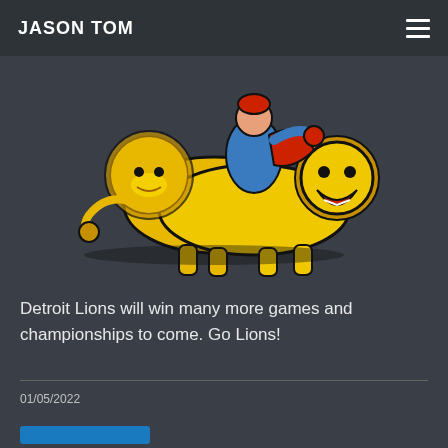JASON TOM
[Figure (illustration): Detroit Lions mascot logo — a figure in blue and red riding on two yellow roaring lions, with black outlines on a dark background]
Detroit Lions will win many more games and championships to come. Go Lions!
01/05/2022